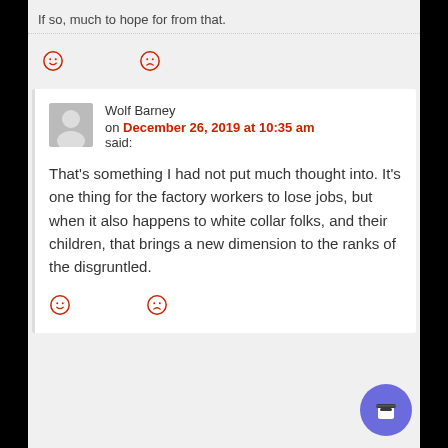If so, much to hope for from that.
[Figure (illustration): Two emoji reaction icons (smiley and frowning face) in red outline style]
Wolf Barney
on December 26, 2019 at 10:35 am
said:
That’s something I had not put much thought into. It’s one thing for the factory workers to lose jobs, but when it also happens to white collar folks, and their children, that brings a new dimension to the ranks of the disgruntled.
[Figure (illustration): Two emoji reaction icons (smiley and frowning face) in red outline style]
[Figure (illustration): Blue coffee cup button in bottom right corner]